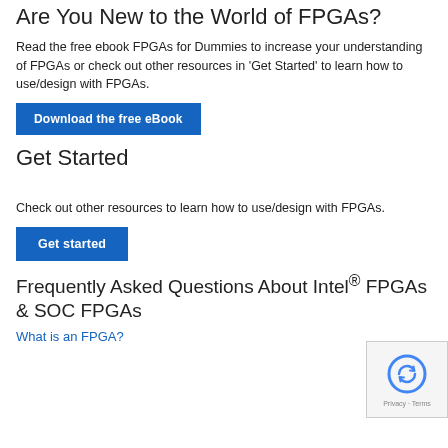Are You New to the World of FPGAs?
Read the free ebook FPGAs for Dummies to increase your understanding of FPGAs or check out other resources in 'Get Started' to learn how to use/design with FPGAs.
Download the free eBook
Get Started
Check out other resources to learn how to use/design with FPGAs.
Get started
Frequently Asked Questions About Intel® FPGAs & SOC FPGAs
What is an FPGA?